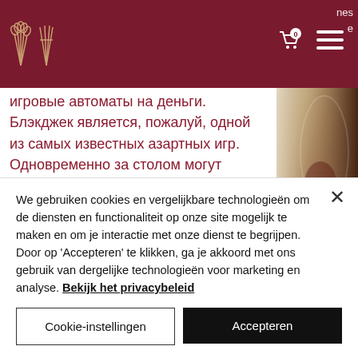Wine shop header with logo, cart icon (0), and menu icon
игровые автоматы на деньги. Блэкджек является, пожалуй, одной из самых известных азартных игр. Одновременно за столом могут сидеть несколько игроков, но все сводится к дуэли игрока и. Обзор онлайн казино bitstarz с ссылкой на актуальное зеркало сайта. Регистрируйся через наш сайт и получи 20 fs на бонусный счёт для начала игры. Para
[Figure (photo): Wine glass close-up on the right side of the page]
We gebruiken cookies en vergelijkbare technologieën om de diensten en functionaliteit op onze site mogelijk te maken en om je interactie met onze dienst te begrijpen. Door op 'Accepteren' te klikken, ga je akkoord met ons gebruik van dergelijke technologieën voor marketing en analyse. Bekijk het privacybeleid
Cookie-instellingen
Accepteren